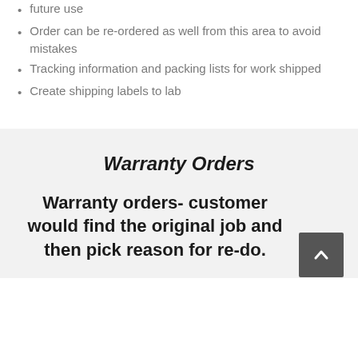future use
Order can be re-ordered as well from this area to avoid mistakes
Tracking information and packing lists for work shipped
Create shipping labels to lab
Warranty Orders
Warranty orders- customer would find the original job and then pick reason for re-do.